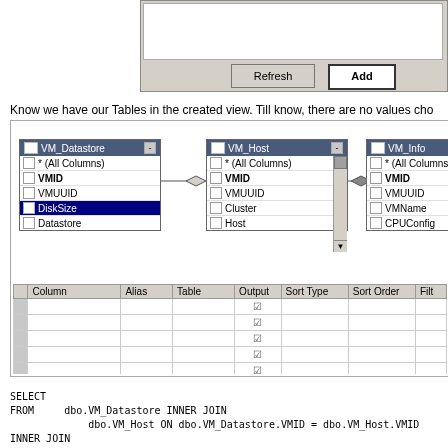[Figure (screenshot): Top panel showing a dialog with Refresh and Add buttons]
Know we have our Tables in the created view. Till know, there are no values cho
[Figure (screenshot): Database query designer showing three joined tables VM_Datastore, VM_Host, VM_Info with a grid panel below and SQL query at the bottom]
SELECT
FROM
    dbo.VM_Datastore INNER JOIN
        dbo.VM_Host ON dbo.VM_Datastore.VMID = dbo.VM_Host.VMID INNER JOIN
        dbo.VM_Info ON dbo.VM_Datastore.VMID = dbo.VM_Info.VMID INNER JOIN
        dbo.VM_Network ON dbo.VM_Datastore.VMID = dbo.VM_Network.VMID